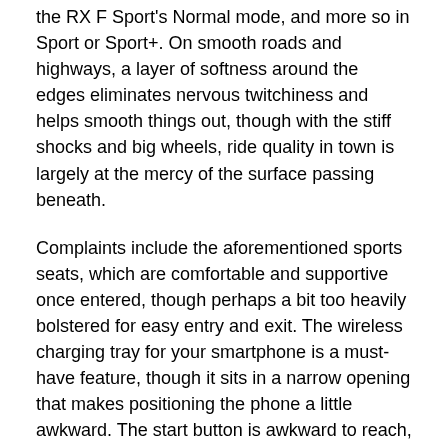the RX F Sport's Normal mode, and more so in Sport or Sport+. On smooth roads and highways, a layer of softness around the edges eliminates nervous twitchiness and helps smooth things out, though with the stiff shocks and big wheels, ride quality in town is largely at the mercy of the surface passing beneath.
Complaints include the aforementioned sports seats, which are comfortable and supportive once entered, though perhaps a bit too heavily bolstered for easy entry and exit. The wireless charging tray for your smartphone is a must-have feature, though it sits in a narrow opening that makes positioning the phone a little awkward. The start button is awkward to reach, and blocked by the steering wheel. Finally, the Remote Touch Interface (RTI) track pad gizmo is slick once learned, though precise manipulation of the teensy little cursor on such an enormous and action-packed display screen takes some practice.
Ultimately, where a one-of-a-kind take on style, technology and key Lexus traits like a highly-detailed cabin and generous use of the latest in high-tech are concerned, this one deserves your immediate attention.